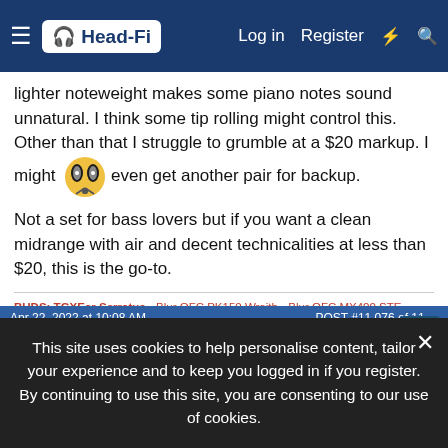Head-Fi — Log in  Register
lighter noteweight makes some piano notes sound unnatural. I think some tip rolling might control this. Other than that I struggle to grumble at a $20 markup. I might even get another pair for backup. 🎧
Not a set for bass lovers but if you want a clean midrange with air and decent technicalities at less than $20, this is the go-to.
BUDS: TGXEar Serratus • Blur OFC PK150 Wraith • Blur OFC MX400 STE
IEM: Mentawai • Dioko • Penon Vortex • Tanchjim Zero
DAP/AMP: Shanling M8 • Cayin RU6 • DAWN • VE Megatron
Apr 22, 2022 at 10:08 AM    POST #11,076 of 11,...
This site uses cookies to help personalise content, tailor your experience and to keep you logged in if you register. By continuing to use this site, you are consenting to our use of cookies.